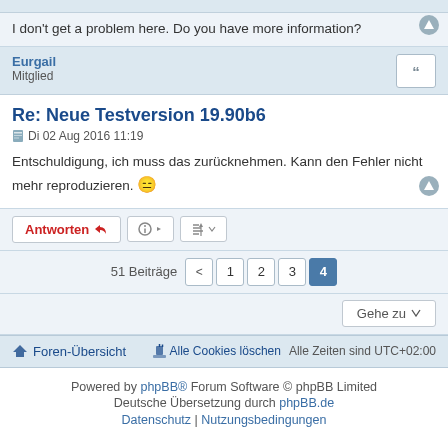I don't get a problem here. Do you have more information?
Eurgail
Mitglied
Re: Neue Testversion 19.90b6
Di 02 Aug 2016 11:19
Entschuldigung, ich muss das zurücknehmen. Kann den Fehler nicht mehr reproduzieren. 😐
Antworten | tools | sort
51 Beiträge  < 1 2 3 4
Gehe zu
Foren-Übersicht  Alle Cookies löschen  Alle Zeiten sind UTC+02:00
Powered by phpBB® Forum Software © phpBB Limited
Deutsche Übersetzung durch phpBB.de
Datenschutz | Nutzungsbedingungen